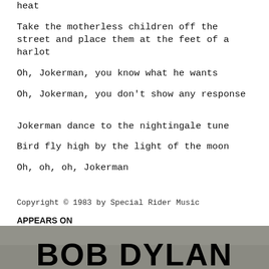heat
Take the motherless children off the street and place them at the feet of a harlot
Oh, Jokerman, you know what he wants
Oh, Jokerman, you don’t show any response
Jokerman dance to the nightingale tune
Bird fly high by the light of the moon
Oh, oh, oh, Jokerman
Copyright © 1983 by Special Rider Music
APPEARS ON
[Figure (photo): Album cover showing BOB DYLAN text in large bold letters over a photograph]